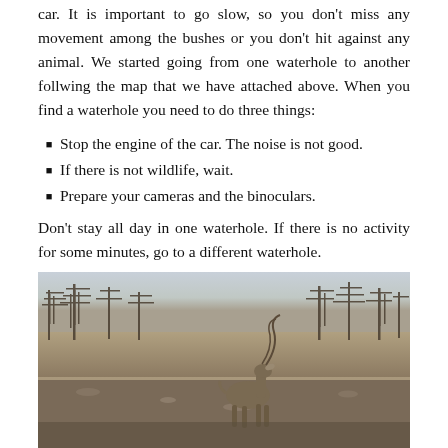car. It is important to go slow, so you don't miss any movement among the bushes or you don't hit against any animal. We started going from one waterhole to another follwing the map that we have attached above. When you find a waterhole you need to do three things:
Stop the engine of the car. The noise is not good.
If there is not wildlife, wait.
Prepare your cameras and the binoculars.
Don't stay all day in one waterhole. If there is no activity for some minutes, go to a different waterhole.
[Figure (photo): A large kudu antelope standing in a dry, open landscape with bare trees in the background. The animal faces left, with prominent horns visible. The terrain is rocky and arid.]